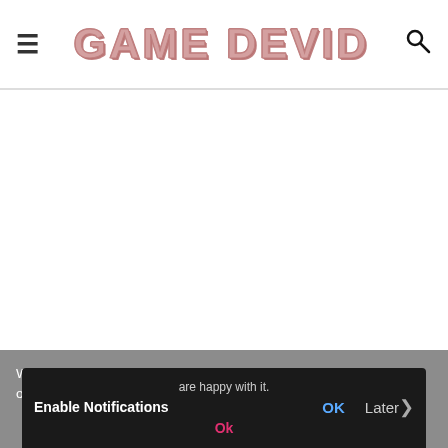GAME DEVID
[Figure (other): White blank content area below site header]
We use cookies to ensure that we give you the best experience on our website. If you continue to use this site we will assume that you are happy with it.
Enable Notifications   OK   Later
Ok